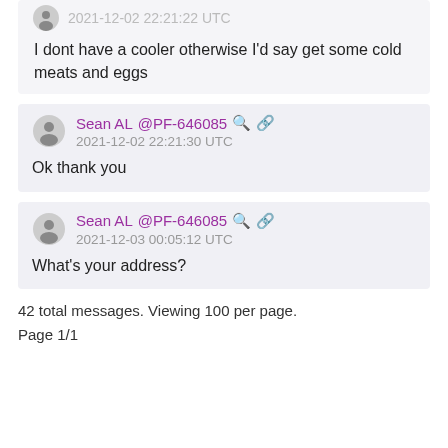2021-12-02 22:21:22 UTC
I dont have a cooler otherwise I'd say get some cold meats and eggs
Sean AL @PF-646085 2021-12-02 22:21:30 UTC
Ok thank you
Sean AL @PF-646085 2021-12-03 00:05:12 UTC
What's your address?
42 total messages. Viewing 100 per page.
Page 1/1